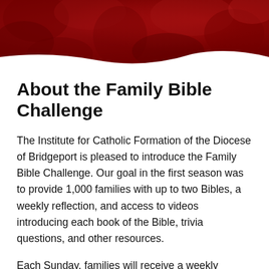[Figure (illustration): Red decorative header banner with dark red textured/floral background pattern]
About the Family Bible Challenge
The Institute for Catholic Formation of the Diocese of Bridgeport is pleased to introduce the Family Bible Challenge. Our goal in the first season was to provide 1,000 families with up to two Bibles, a weekly reflection, and access to videos introducing each book of the Bible, trivia questions, and other resources.
Each Sunday, families will receive a weekly...